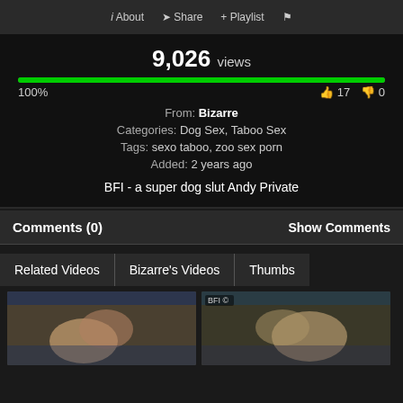i About  ➤ Share  + Playlist  🚩
9,026 views
100%   👍 17  👎 0
From: Bizarre
Categories: Dog Sex, Taboo Sex
Tags: sexo taboo, zoo sex porn
Added: 2 years ago
BFI - a super dog slut Andy Private
Comments (0)    Show Comments
Related Videos
Bizarre's Videos
Thumbs
[Figure (photo): Two video thumbnails showing adult content]
[Figure (photo): Second video thumbnail with BFI watermark]